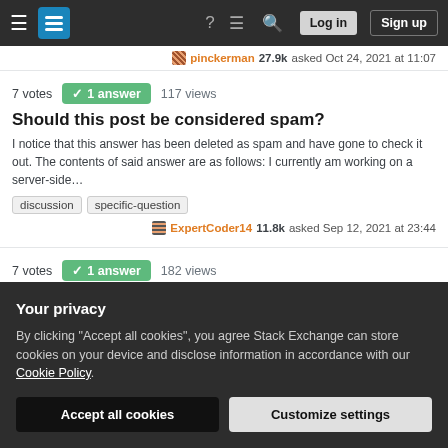Stack Exchange navigation bar with Log in and Sign up buttons
pinckerman 27.9k asked Oct 24, 2021 at 11:07
7 votes  1 answer  117 views
Should this post be considered spam?
I notice that this answer has been deleted as spam and have gone to check it out. The contents of said answer are as follows: I currently am working on a server-side…
discussion
specific-question
ExpertCoder14 11.8k asked Sep 12, 2021 at 23:44
7 votes  1 answer  182 views
Problem with understanding an incorrectly closed valid
Your privacy
By clicking "Accept all cookies", you agree Stack Exchange can store cookies on your device and disclose information in accordance with our Cookie Policy.
Accept all cookies  Customize settings